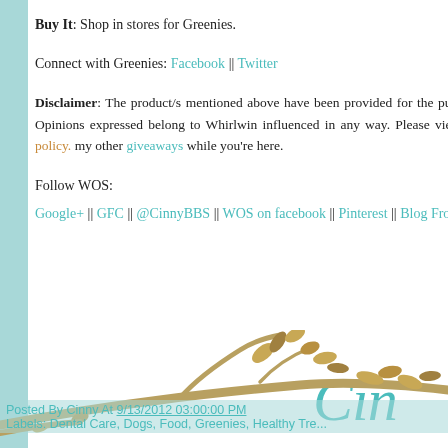Buy It: Shop in stores for Greenies.
Connect with Greenies: Facebook || Twitter
Disclaimer: The product/s mentioned above have been provided for the purpose of form of compensation was received. Opinions expressed belong to Whirlwind and influenced in any way. Please view my full disclosure, TOS, and privacy policy. my other giveaways while you're here.
Follow WOS:
Google+ || GFC || @CinnyBBS || WOS on facebook || Pinterest || Blog Frog
Until next time
[Figure (illustration): Decorative branch with leaves in golden/brown tones at bottom of page, and a teal cursive signature 'Cinny']
Posted By Cinny At 9/13/2012 03:00:00 PM
Labels: Dental Care, Dogs, Food, Greenies, Healthy Tre...